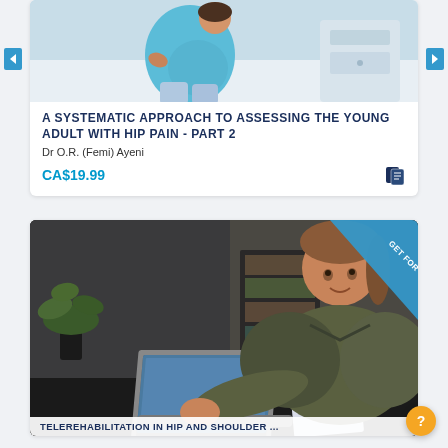[Figure (photo): Pregnant woman sitting on bed holding her lower back, wearing teal top and light jeans, bedroom setting with white nightstand]
A SYSTEMATIC APPROACH TO ASSESSING THE YOUNG ADULT WITH HIP PAIN - PART 2
Dr O.R. (Femi) Ayeni
CA$19.99
[Figure (photo): Young woman with brown hair in olive green shirt working on laptop in modern office, holding a notebook, plant in background, GET FOR FREE ribbon in top right corner]